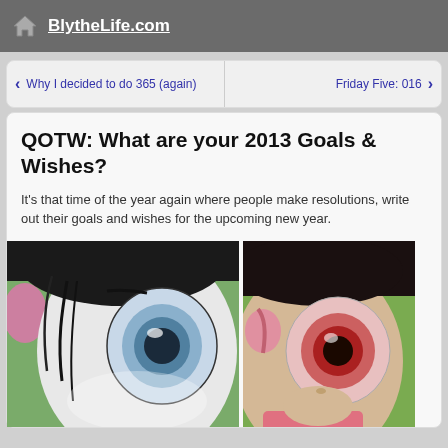BlytheLife.com
Why I decided to do 365 (again)
Friday Five: 016
QOTW: What are your 2013 Goals & Wishes?
It's that time of the year again where people make resolutions, write out their goals and wishes for the upcoming new year.
[Figure (photo): Close-up photo of a Blythe doll face with blue eye, black hair, and pink earmuffs on green background]
[Figure (photo): Close-up photo of a Blythe doll face with red eye, brown hair, and pink braided headband]